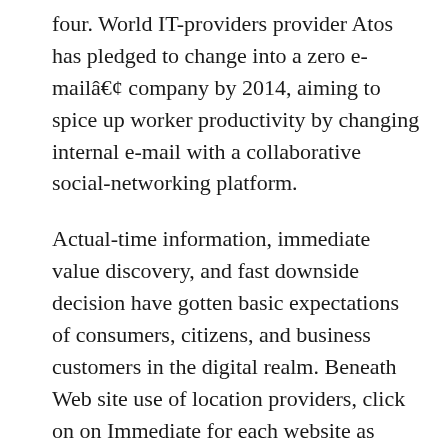four. World IT-providers provider Atos has pledged to change into a zero e-mailâ€¢ company by 2014, aiming to spice up worker productivity by changing internal e-mail with a collaborative social-networking platform.
Actual-time information, immediate value discovery, and fast downside decision have gotten basic expectations of consumers, citizens, and business customers in the digital realm. Beneath Web site use of location providers, click on on Immediate for each website as soon as each day or Speedy for every web page one time solely. The actual energy is available in connecting multiple data sources to understand invaluable insights in some other case misplaced Computer Expertise Let’s take an AdWords advertising marketing campaign for instance.